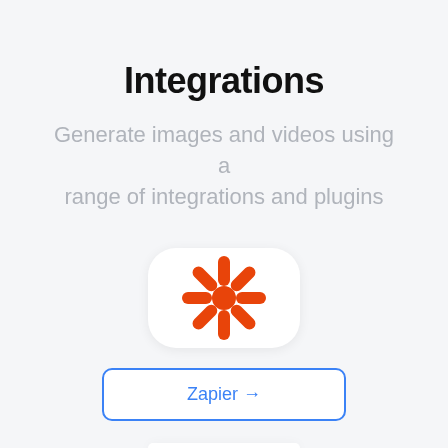Integrations
Generate images and videos using a range of integrations and plugins
[Figure (logo): Zapier logo icon — orange asterisk/snowflake shape on white rounded square background]
Zapier →
[Figure (logo): Partially visible integration logo — yellow and orange layered diamond/stack shapes on white rounded square background, cropped at bottom of page]